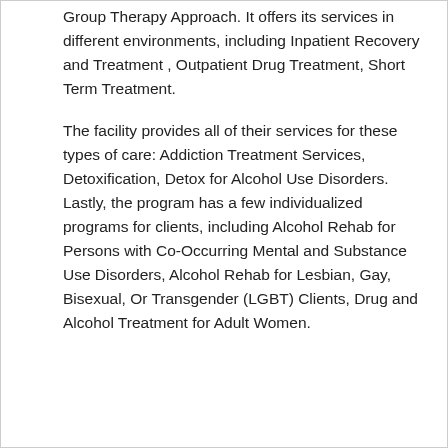Group Therapy Approach. It offers its services in different environments, including Inpatient Recovery and Treatment , Outpatient Drug Treatment, Short Term Treatment.
The facility provides all of their services for these types of care: Addiction Treatment Services, Detoxification, Detox for Alcohol Use Disorders. Lastly, the program has a few individualized programs for clients, including Alcohol Rehab for Persons with Co-Occurring Mental and Substance Use Disorders, Alcohol Rehab for Lesbian, Gay, Bisexual, Or Transgender (LGBT) Clients, Drug and Alcohol Treatment for Adult Women.